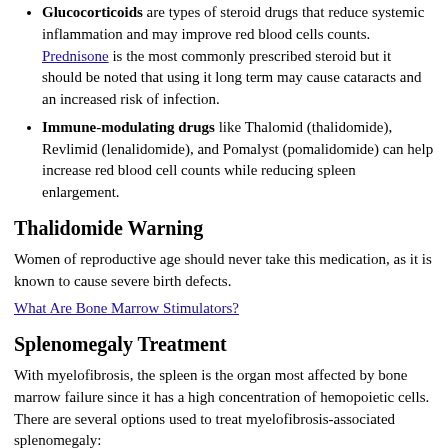Glucocorticoids are types of steroid drugs that reduce systemic inflammation and may improve red blood cells counts. Prednisone is the most commonly prescribed steroid but it should be noted that using it long term may cause cataracts and an increased risk of infection.
Immune-modulating drugs like Thalomid (thalidomide), Revlimid (lenalidomide), and Pomalyst (pomalidomide) can help increase red blood cell counts while reducing spleen enlargement.
Thalidomide Warning
Women of reproductive age should never take this medication, as it is known to cause severe birth defects.
What Are Bone Marrow Stimulators?
Splenomegaly Treatment
With myelofibrosis, the spleen is the organ most affected by bone marrow failure since it has a high concentration of hemopoietic cells. There are several options used to treat myelofibrosis-associated splenomegaly: